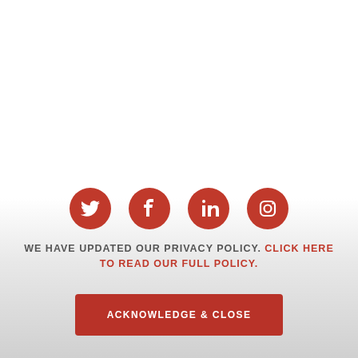[Figure (illustration): Four red circular social media icons in a row: Twitter, Facebook, LinkedIn, Instagram]
WE HAVE UPDATED OUR PRIVACY POLICY. CLICK HERE TO READ OUR FULL POLICY.
ACKNOWLEDGE & CLOSE